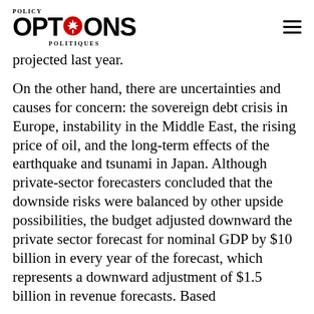POLICY OPTIONS POLITIQUES
projected last year.
On the other hand, there are uncertainties and causes for concern: the sovereign debt crisis in Europe, instability in the Middle East, the rising price of oil, and the long-term effects of the earthquake and tsunami in Japan. Although private-sector forecasters concluded that the downside risks were balanced by other upside possibilities, the budget adjusted downward the private sector forecast for nominal GDP by $10 billion in every year of the forecast, which represents a downward adjustment of $1.5 billion in revenue forecasts. Based